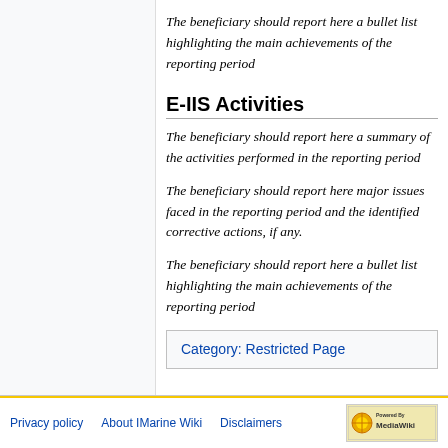The beneficiary should report here a bullet list highlighting the main achievements of the reporting period
E-IIS Activities
The beneficiary should report here a summary of the activities performed in the reporting period
The beneficiary should report here major issues faced in the reporting period and the identified corrective actions, if any.
The beneficiary should report here a bullet list highlighting the main achievements of the reporting period
Category: Restricted Page
Privacy policy   About IMarine Wiki   Disclaimers